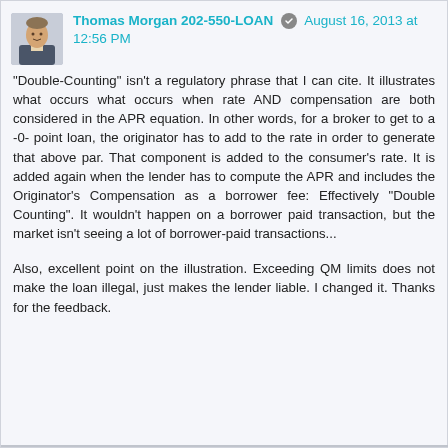Thomas Morgan 202-550-LOAN  August 16, 2013 at 12:56 PM
"Double-Counting" isn't a regulatory phrase that I can cite. It illustrates what occurs what occurs when rate AND compensation are both considered in the APR equation. In other words, for a broker to get to a -0- point loan, the originator has to add to the rate in order to generate that above par. That component is added to the consumer's rate. It is added again when the lender has to compute the APR and includes the Originator's Compensation as a borrower fee: Effectively "Double Counting". It wouldn't happen on a borrower paid transaction, but the market isn't seeing a lot of borrower-paid transactions...
Also, excellent point on the illustration. Exceeding QM limits does not make the loan illegal, just makes the lender liable. I changed it. Thanks for the feedback.